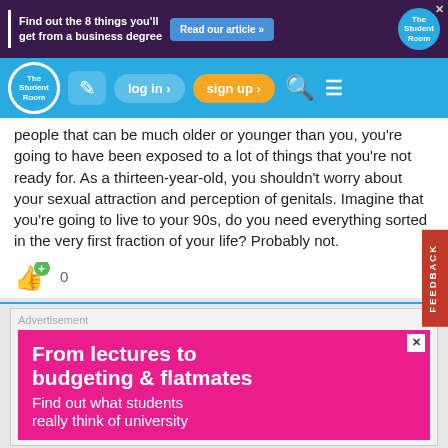[Figure (screenshot): Top advertisement banner with dark purple background: 'Find out the 8 things you'll get from a business degree' with 'Read our article »' button and The Student Room logo]
[Figure (screenshot): The Student Room navigation bar with logo, edit icon, log in button, sign up button, search icon, and menu icon on cyan/blue background]
people that can be much older or younger than you, you're going to have been exposed to a lot of things that you're not ready for. As a thirteen-year-old, you shouldn't worry about your sexual attraction and perception of genitals. Imagine that you're going to live to your 90s, do you need everything sorted in the very first fraction of your life? Probably not.
[Figure (illustration): Thumbs up like icon with plus sign overlay and count of 0]
[Figure (screenshot): Advertisement section with pink background: 'From lectures to budgeting & flatmates - Find out what students really think of university']